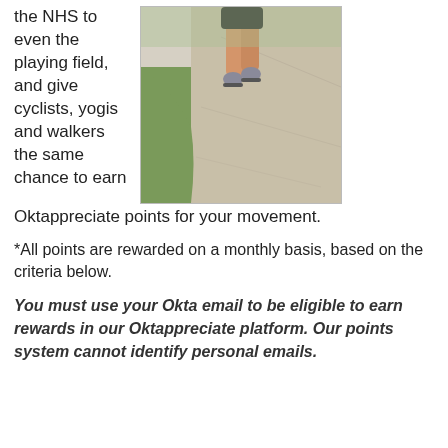the NHS to even the playing field, and give cyclists, yogis and walkers the same chance to earn Oktappreciate points for your movement.
[Figure (photo): A person running on a gravel path with grass on the side, viewed from the waist down, wearing dark shorts and grey trainers.]
*All points are rewarded on a monthly basis, based on the criteria below.
You must use your Okta email to be eligible to earn rewards in our Oktappreciate platform. Our points system cannot identify personal emails.